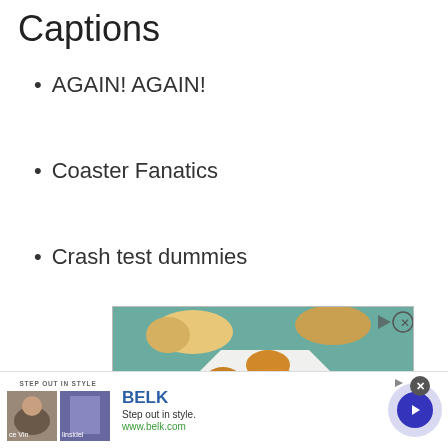Captions
AGAIN! AGAIN!
Coaster Fanatics
Crash test dummies
[Figure (photo): Advertisement photo showing fried chicken pieces on a white octagonal plate with a dipping sauce, and bread rolls in the background on a teal wooden surface]
[Figure (photo): Bottom banner advertisement for BELK department store showing 'Step out in style' with two thumbnail images, the BELK logo, tagline 'Step out in style.' and URL www.belk.com, with a blue circular arrow button]